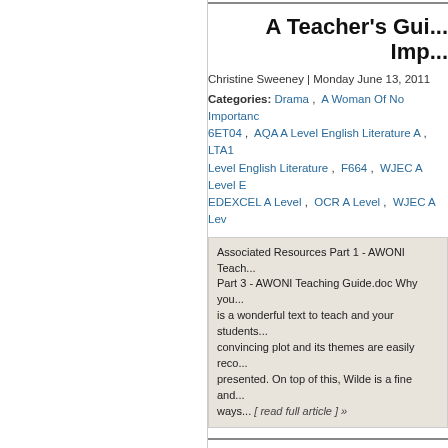A Teacher's Guide to Imp...
Christine Sweeney | Monday June 13, 2011
Categories: Drama , A Woman Of No Importanc... , 6ET04 , AQA A Level English Literature A , LTA1... , Level English Literature , F664 , WJEC A Level E... , EDEXCEL A Level , OCR A Level , WJEC A Lev...
Associated Resources Part 1 - AWONI Teach... Part 3 - AWONI Teaching Guide.doc Why you... is a wonderful text to teach and your students... convincing plot and its themes are easily reco... presented. On top of this, Wilde is a fine and... ways... [ read full article ] »
A Guide to T...
Christine Sweeney | Wednesday February 16, 20...
Categories: Drama , Othello , Hot Entries , Shak... , Literature , 6ET02 , AQA A Level English Literat... , Archive , AQA A Level , EDEXCEL A Level , OCR...
Associated Resources How to impr... ade... Shakespeare's popular A Level play, Othello... available Internet and printed material for th...